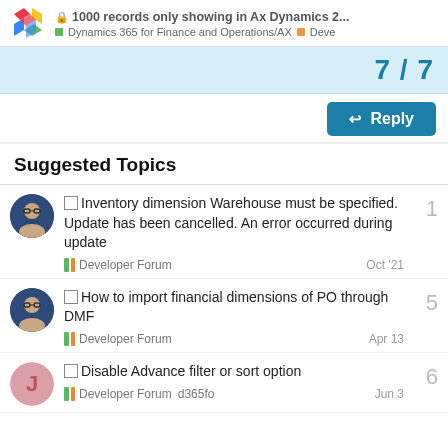1000 records only showing in Ax Dynamics 2... | Dynamics 365 for Finance and Operations/AX | Deve
7/7
Reply
Suggested Topics
Inventory dimension Warehouse must be specified. Update has been cancelled. An error occurred during update | Developer Forum | Oct '21 | 1
How to import financial dimensions of PO through DMF | Developer Forum | Apr 13 | 5
Disable Advance filter or sort option | Developer Forum d365fo | Jun 3 | 6